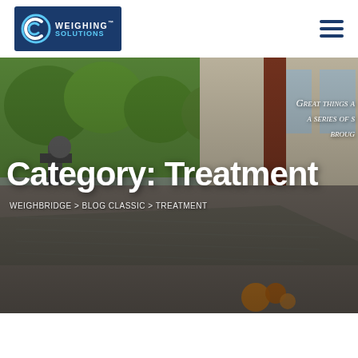[Figure (logo): GC Weighing Solutions logo — dark blue rectangle with circular 'GC' emblem and company name in white/light blue text with TM mark]
[Figure (photo): Outdoor scene showing a weighbridge/water treatment facility with green trees, a dark red pillar, building with glass windows, industrial pipes/equipment on the left, paved weighbridge surface in foreground, orange flowers at bottom]
Category: Treatment
GREAT THINGS A a series of s broug
WEIGHBRIDGE > BLOG CLASSIC > TREATMENT